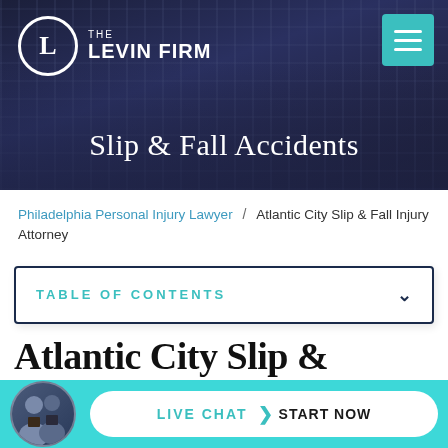[Figure (logo): The Levin Firm logo — circular L emblem with firm name in white on dark navy/city background]
Slip & Fall Accidents
Philadelphia Personal Injury Lawyer / Atlantic City Slip & Fall Injury Attorney
TABLE OF CONTENTS
Atlantic City Slip &
LIVE CHAT › START NOW